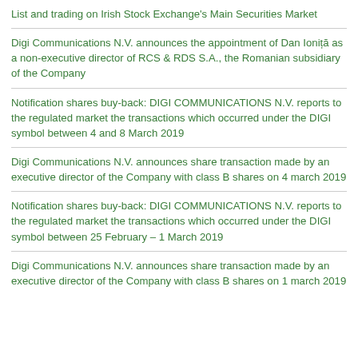List and trading on Irish Stock Exchange's Main Securities Market
Digi Communications N.V. announces the appointment of Dan Ioniță as a non-executive director of RCS & RDS S.A., the Romanian subsidiary of the Company
Notification shares buy-back: DIGI COMMUNICATIONS N.V. reports to the regulated market the transactions which occurred under the DIGI symbol between 4 and 8 March 2019
Digi Communications N.V. announces share transaction made by an executive director of the Company with class B shares on 4 march 2019
Notification shares buy-back: DIGI COMMUNICATIONS N.V. reports to the regulated market the transactions which occurred under the DIGI symbol between 25 February – 1 March 2019
Digi Communications N.V. announces share transaction made by an executive director of the Company with class B shares on 1 march 2019